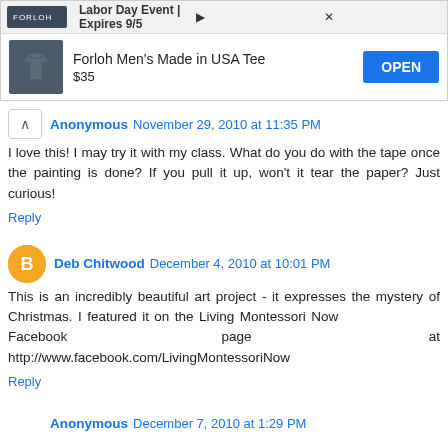[Figure (screenshot): Advertisement banner for Forloh Men's Made in USA Tee, $35, with OPEN button. Labor Day Event, Expires 9/5.]
Anonymous November 29, 2010 at 11:35 PM
I love this! I may try it with my class. What do you do with the tape once the painting is done? If you pull it up, won't it tear the paper? Just curious!
Reply
Deb Chitwood December 4, 2010 at 10:01 PM
This is an incredibly beautiful art project - it expresses the mystery of Christmas. I featured it on the Living Montessori Now Facebook page at http://www.facebook.com/LivingMontessoriNow
Reply
Anonymous December 7, 2010 at 1:29 PM